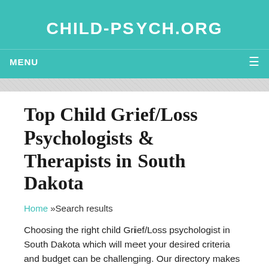CHILD-PSYCH.ORG
MENU ☰
Top Child Grief/Loss Psychologists & Therapists in South Dakota
Home »Search results
Choosing the right child Grief/Loss psychologist in South Dakota which will meet your desired criteria and budget can be challenging. Our directory makes it easy for you to find best South Dakota licensed child psychologist, adolescent therapists, and more.